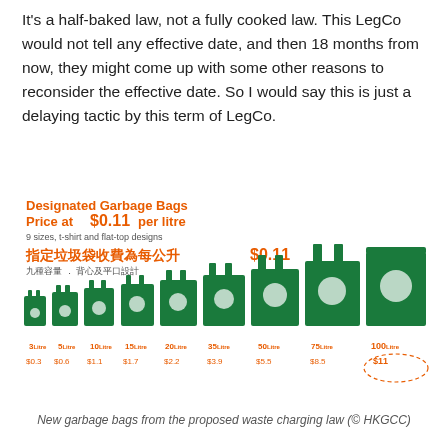It's a half-baked law, not a fully cooked law. This LegCo would not tell any effective date, and then 18 months from now, they might come up with some other reasons to reconsider the effective date. So I would say this is just a delaying tactic by this term of LegCo.
[Figure (infographic): Infographic showing Designated Garbage Bags priced at $0.11 per litre, in 9 sizes (t-shirt and flat-top designs). Green bag icons of increasing size labeled 3L ($0.3), 5L ($0.6), 10L ($1.1), 15L ($1.7), 20L ($2.2), 35L ($3.9), 50L ($5.5), 75L ($8.5), 100L ($11). Title also in Chinese: 指定垃圾袋收費為每公升 $0.11, 九種容量．背心及平口設計]
New garbage bags from the proposed waste charging law (© HKGCC)